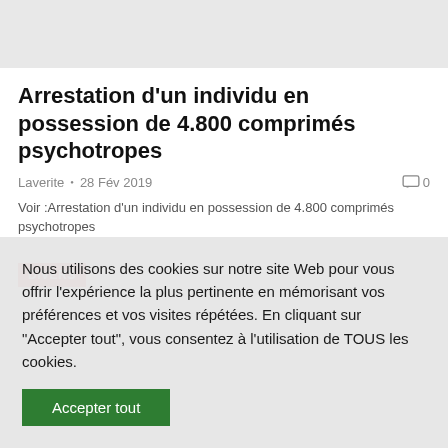[Figure (photo): Gray image placeholder area at top of page]
Arrestation d'un individu en possession de 4.800 comprimés psychotropes
Laverite • 28 Fév 2019   0
Voir :Arrestation d'un individu en possession de 4.800 comprimés psychotropes
DIVERS
Nous utilisons des cookies sur notre site Web pour vous offrir l'expérience la plus pertinente en mémorisant vos préférences et vos visites répétées. En cliquant sur "Accepter tout", vous consentez à l'utilisation de TOUS les cookies.